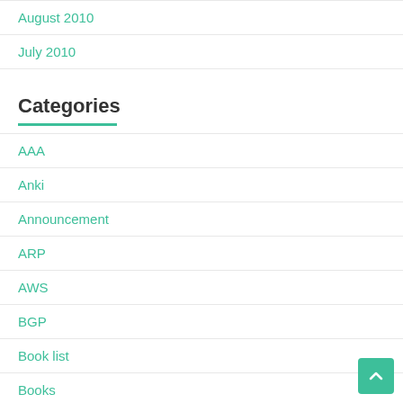August 2010
July 2010
Categories
AAA
Anki
Announcement
ARP
AWS
BGP
Book list
Books